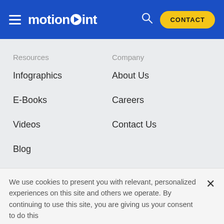motionpoint — CONTACT
Resources
Infographics
E-Books
Videos
Blog
Company
About Us
Careers
Contact Us
We use cookies to present you with relevant, personalized experiences on this site and others we operate. By continuing to use this site, you are giving us your consent to do this